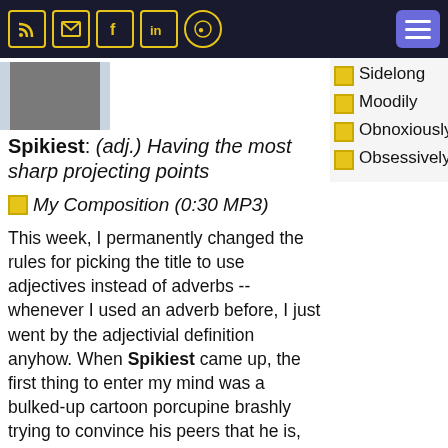Navigation bar with RSS, email, Facebook, LinkedIn, GitHub icons and hamburger menu
[Figure (photo): Profile photo of a person in a black shirt]
Sidelong
Moodily
Obnoxiously
Obsessively (sidebar items)
Spikiest: (adj.) Having the most sharp projecting points
My Composition (0:30 MP3)
This week, I permanently changed the rules for picking the title to use adjectives instead of adverbs -- whenever I used an adverb before, I just went by the adjectivial definition anyhow. When Spikiest came up, the first thing to enter my mind was a bulked-up cartoon porcupine brashly trying to convince his peers that he is, indeed, the spikiest. I wanted to get a metallic treble aura of fat eight-note piano triads filled with the slicing ka-chunk of not-quite-together downbeats. The transition in the middle is a little rough, but I think this is one that I could expand into a larger work. With more than thirty minutes, I would have smoothed out the transition, and